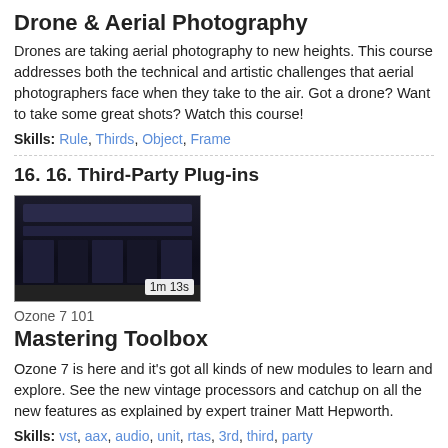Drone & Aerial Photography
Drones are taking aerial photography to new heights. This course addresses both the technical and artistic challenges that aerial photographers face when they take to the air. Got a drone? Want to take some great shots? Watch this course!
Skills: Rule, Thirds, Object, Frame
16. 16. Third-Party Plug-ins
[Figure (screenshot): Dark-themed video thumbnail showing an audio software interface with panels and controls, duration badge showing 1m 13s]
Ozone 7 101
Mastering Toolbox
Ozone 7 is here and it's got all kinds of new modules to learn and explore. See the new vintage processors and catchup on all the new features as explained by expert trainer Matt Hepworth.
Skills: vst, aax, audio, unit, rtas, 3rd, third, party
31. 31. 3rd-Party Tools & Conclusion